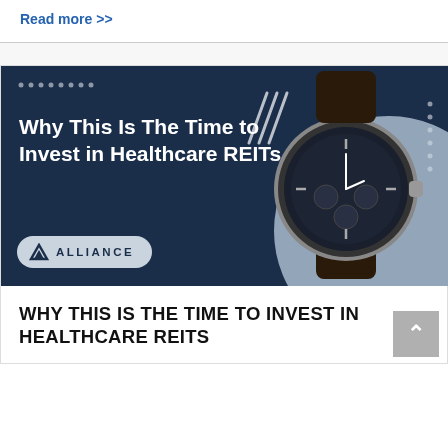Read more >>
[Figure (illustration): Dark navy blue banner with text 'Why This Is The Time to Invest in Healthcare REITs', Alliance logo badge, decorative dots and slash marks, and a wristwatch photo on the right side.]
WHY THIS IS THE TIME TO INVEST IN HEALTHCARE REITS